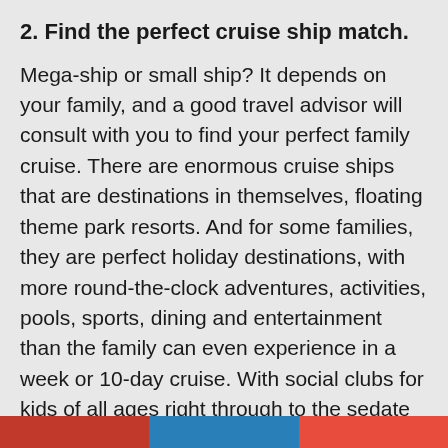2. Find the perfect cruise ship match.
Mega-ship or small ship? It depends on your family, and a good travel advisor will consult with you to find your perfect family cruise. There are enormous cruise ships that are destinations in themselves, floating theme park resorts. And for some families, they are perfect holiday destinations, with more round-the-clock adventures, activities, pools, sports, dining and entertainment than the family can even experience in a week or 10-day cruise. With social clubs for kids of all ages right through to the sedate activities many grandparents enjoy, these ships are crowd pleasers.